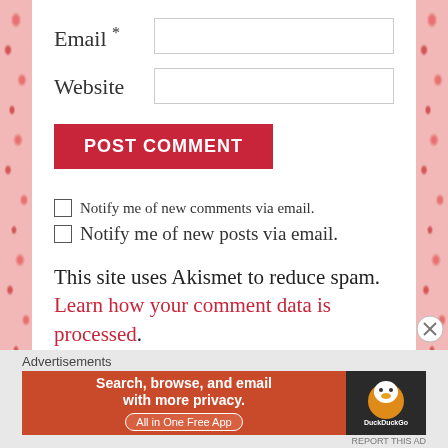Email *
Website
POST COMMENT
Notify me of new comments via email.
Notify me of new posts via email.
This site uses Akismet to reduce spam. Learn how your comment data is processed.
Advertisements
[Figure (screenshot): DuckDuckGo advertisement banner: Search, browse, and email with more privacy. All in One Free App. DuckDuckGo logo.]